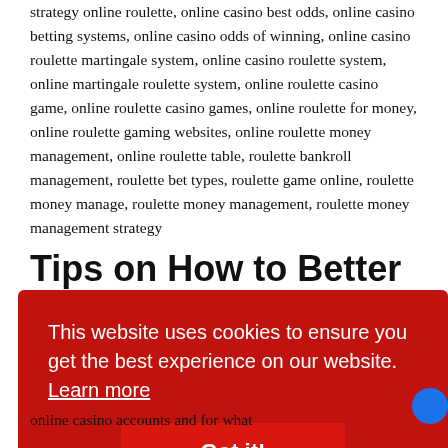strategy online roulette, online casino best odds, online casino betting systems, online casino odds of winning, online casino roulette martingale system, online casino roulette system, online martingale roulette system, online roulette casino game, online roulette casino games, online roulette for money, online roulette gaming websites, online roulette money management, online roulette table, roulette bankroll management, roulette bet types, roulette game online, roulette money manage, roulette money management, roulette money management strategy
Tips on How to Better
[Figure (screenshot): Cookie consent banner with red background. Text reads: 'This website uses cookies to ensure you get the best experience on our website. Learn more'. Below is a red 'Got it!' button. A blue circle is partially visible on the right edge.]
online casino accounts and for what